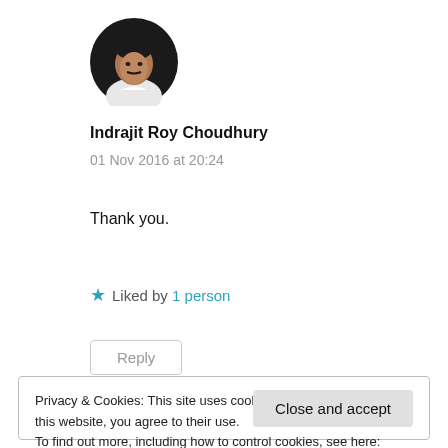[Figure (photo): Round avatar photo of a man in white shirt against dark background]
Indrajit Roy Choudhury
01 Nov 2016 at 20:24
Thank you.
★ Liked by 1 person
Reply
Privacy & Cookies: This site uses cookies. By continuing to use this website, you agree to their use.
To find out more, including how to control cookies, see here: Cookie Policy
Close and accept